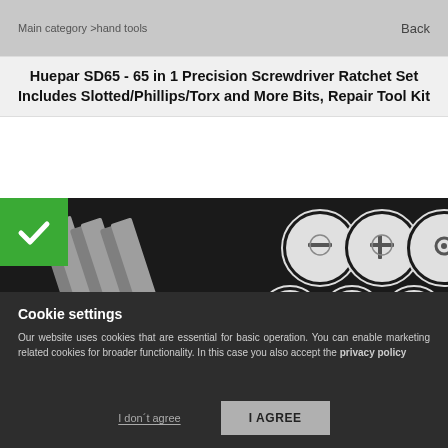Main category >hand tools    Back
Huepar SD65 - 65 in 1 Precision Screwdriver Ratchet Set Includes Slotted/Phillips/Torx and More Bits, Repair Tool Kit
[Figure (photo): Product photo of Huepar SD65 precision screwdriver bit set showing multiple metallic screwdriver bits and circular inset images of various screw types on a dark background. A green checkmark badge overlays the top-left corner.]
Cookie settings
Our website uses cookies that are essential for basic operation. You can enable marketing related cookies for broader functionality. In this case you also accept the privacy policy
I don´t agree
I AGREE